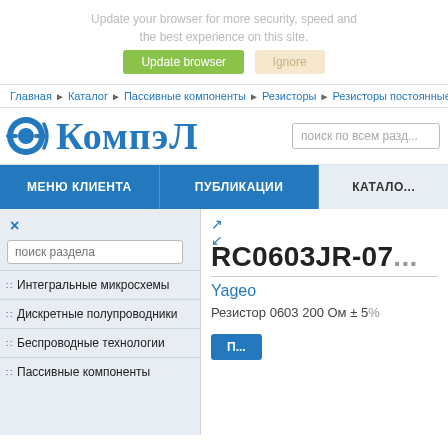Update your browser for more security, speed and the best experience on this site.
Update browser   Ignore
Главная ▶ Каталог ▶ Пассивные компоненты ▶ Резисторы ▶ Резисторы постоянные
[Figure (logo): КомпэЛ logo with blue circular icon and bold blue Cyrillic text]
поиск по всем разд...
МЕНЮ КЛИЕНТА   ПУБЛИКАЦИИ   КАТАЛО...
поиск раздела
Интегральные микросхемы
Дискретные полупроводники
Беспроводные технологии
Пассивные компоненты
RC0603JR-07...
Yageo
Резистор 0603 200 Ом ± 5%